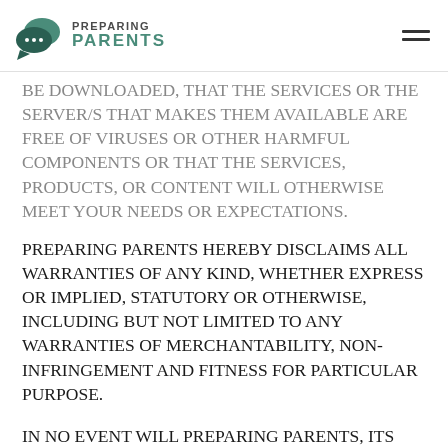PREPARING PARENTS
BE DOWNLOADED, THAT THE SERVICES OR THE SERVER/S THAT MAKES THEM AVAILABLE ARE FREE OF VIRUSES OR OTHER HARMFUL COMPONENTS OR THAT THE SERVICES, PRODUCTS, OR CONTENT WILL OTHERWISE MEET YOUR NEEDS OR EXPECTATIONS.
PREPARING PARENTS HEREBY DISCLAIMS ALL WARRANTIES OF ANY KIND, WHETHER EXPRESS OR IMPLIED, STATUTORY OR OTHERWISE, INCLUDING BUT NOT LIMITED TO ANY WARRANTIES OF MERCHANTABILITY, NON-INFRINGEMENT AND FITNESS FOR PARTICULAR PURPOSE.
IN NO EVENT WILL PREPARING PARENTS, ITS AFFILIATES OR THEIR LICENSORS, SERVICE